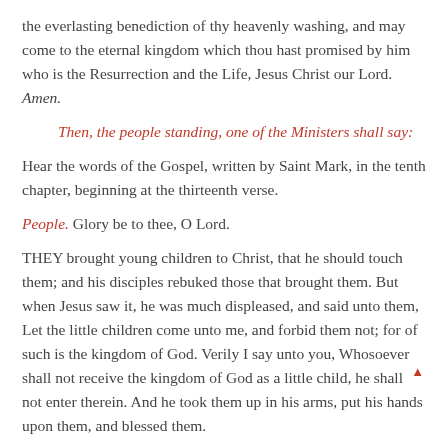the everlasting benediction of thy heavenly washing, and may come to the eternal kingdom which thou hast promised by him who is the Resurrection and the Life, Jesus Christ our Lord. Amen.
Then, the people standing, one of the Ministers shall say:
Hear the words of the Gospel, written by Saint Mark, in the tenth chapter, beginning at the thirteenth verse.
People. Glory be to thee, O Lord.
THEY brought young children to Christ, that he should touch them; and his disciples rebuked those that brought them. But when Jesus saw it, he was much displeased, and said unto them, Let the little children come unto me, and forbid them not; for of such is the kingdom of God. Verily I say unto you, Whosoever shall not receive the kingdom of God as a little child, he shall not enter therein. And he took them up in his arms, put his hands upon them, and blessed them.
People. Praise be to thee, O Christ.